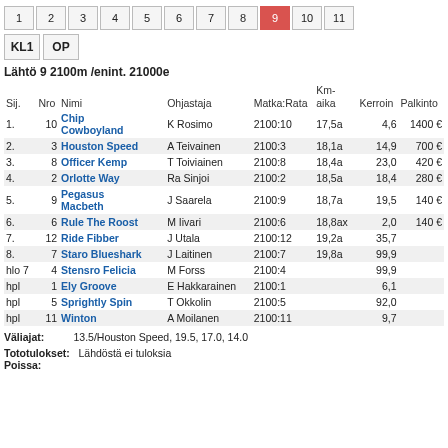Lähtö 9 2100m /enint. 21000e
| Sij. | Nro | Nimi | Ohjastaja | Matka:Rata | Km-aika | Kerroin | Palkinto |
| --- | --- | --- | --- | --- | --- | --- | --- |
| 1. | 10 | Chip Cowboyland | K Rosimo | 2100:10 | 17,5a | 4,6 | 1400 € |
| 2. | 3 | Houston Speed | A Teivainen | 2100:3 | 18,1a | 14,9 | 700 € |
| 3. | 8 | Officer Kemp | T Toiviainen | 2100:8 | 18,4a | 23,0 | 420 € |
| 4. | 2 | Orlotte Way | Ra Sinjoi | 2100:2 | 18,5a | 18,4 | 280 € |
| 5. | 9 | Pegasus Macbeth | J Saarela | 2100:9 | 18,7a | 19,5 | 140 € |
| 6. | 6 | Rule The Roost | M Iivari | 2100:6 | 18,8ax | 2,0 | 140 € |
| 7. | 12 | Ride Fibber | J Utala | 2100:12 | 19,2a | 35,7 |  |
| 8. | 7 | Staro Blueshark | J Laitinen | 2100:7 | 19,8a | 99,9 |  |
| hlo 7 | 4 | Stensro Felicia | M Forss | 2100:4 |  | 99,9 |  |
| hpl | 1 | Ely Groove | E Hakkarainen | 2100:1 |  | 6,1 |  |
| hpl | 5 | Sprightly Spin | T Okkolin | 2100:5 |  | 92,0 |  |
| hpl | 11 | Winton | A Moilanen | 2100:11 |  | 9,7 |  |
Väliajat: 13.5/Houston Speed, 19.5, 17.0, 14.0
Tototulokset: Lähdöstä ei tuloksia
Poissa: